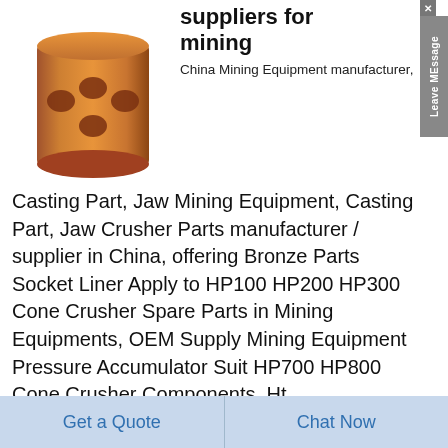[Figure (photo): Bronze/copper cylindrical bushing with holes, mining equipment part]
suppliers for mining
China Mining Equipment manufacturer, Casting Part, Jaw Mining Equipment, Casting Part, Jaw Crusher Parts manufacturer / supplier in China, offering Bronze Parts Socket Liner Apply to HP100 HP200 HP300 Cone Crusher Spare Parts in Mining Equipments, OEM Supply Mining Equipment Pressure Accumulator Suit HP700 HP800 Cone Crusher Components, Ht
[Figure (other): Get Price button with yellow background and scroll-to-top circular button]
[Figure (photo): Bronze/gold colored bowl-shaped mining equipment part]
Mining
Get a Quote
Chat Now